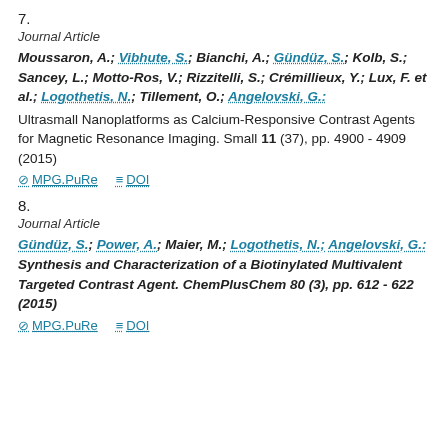7.
Journal Article
Moussaron, A.; Vibhute, S.; Bianchi, A.; Gündüz, S.; Kolb, S.; Sancey, L.; Motto-Ros, V.; Rizzitelli, S.; Crémillieux, Y.; Lux, F. et al.; Logothetis, N.; Tillement, O.; Angelovski, G.: Ultrasmall Nanoplatforms as Calcium-Responsive Contrast Agents for Magnetic Resonance Imaging. Small 11 (37), pp. 4900 - 4909 (2015)
MPG.PuRe   DOI
8.
Journal Article
Gündüz, S.; Power, A.; Maier, M.; Logothetis, N.; Angelovski, G.: Synthesis and Characterization of a Biotinylated Multivalent Targeted Contrast Agent. ChemPlusChem 80 (3), pp. 612 - 622 (2015)
MPG.PuRe   DOI